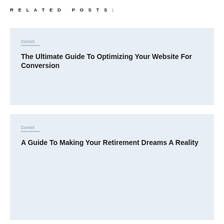Related Posts:
Daniel
The Ultimate Guide To Optimizing Your Website For Conversion
Daniel
A Guide To Making Your Retirement Dreams A Reality